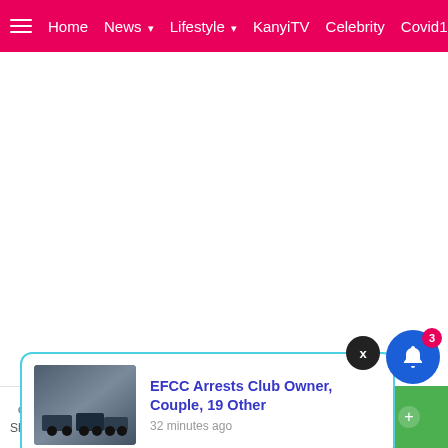≡  Home  News ▾  Lifestyle ▾  KanyiTV  Celebrity  Covid1
[Figure (screenshot): White advertisement/content area below the navigation bar]
[Figure (screenshot): Close (X) button circle overlay]
[Figure (screenshot): Notification popup card with thumbnail image and article title 'EFCC Arrests Club Owner, Couple, 19 Other' posted 32 minutes ago]
herdsmen
s who tr
Shares
[Figure (screenshot): Social share bar with Facebook, Twitter, WhatsApp, Messenger, and green share buttons]
[Figure (screenshot): Blue notification bell with badge showing 3]